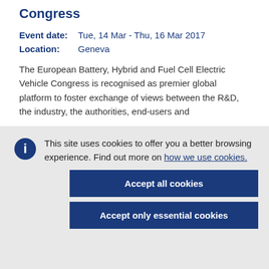Congress
Event date:   Tue, 14 Mar - Thu, 16 Mar 2017
Location:   Geneva
The European Battery, Hybrid and Fuel Cell Electric Vehicle Congress is recognised as premier global platform to foster exchange of views between the R&D, the industry, the authorities, end-users and
This site uses cookies to offer you a better browsing experience. Find out more on how we use cookies.
Accept all cookies
Accept only essential cookies